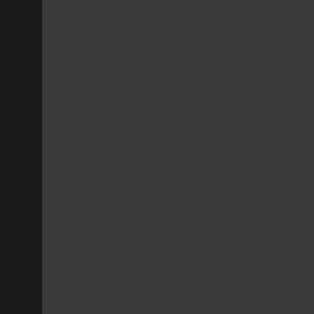therapy. This two part process is reduced chance at relapse than wi...
Residential, as well as outpatient problems from ecstasy abuse. The correlating the appropriate treatme gaining ground as a positive appro approach provides rewards for re option can help the individual who society with healthy activities that p
Heroin Abuse Help, Saline, Louis...
Heroin abuse help is often neces Heroin is a highly addictive subst regular use. Because mild withdra their "sickness" is actually withdra can be very serious as heroin abu havoc to their work, money, relatio
The first step to help an individual the drug itself and help them con There are many steps that follow t treatment program will go through importance on the road of heroin a for heroin abuse. The knowledge a everyday life to truly be effective.
Marijuana Abuse Help, Saline, Lo...
There are many individuals who fin order to help yourself or someone using marijuana is understood. Th often helpful to identify the reaso providing ideas of how to achieve example, some people abuse mar relaxing without smoking marijua enhance conversation and social years of smoking, the quality of rel